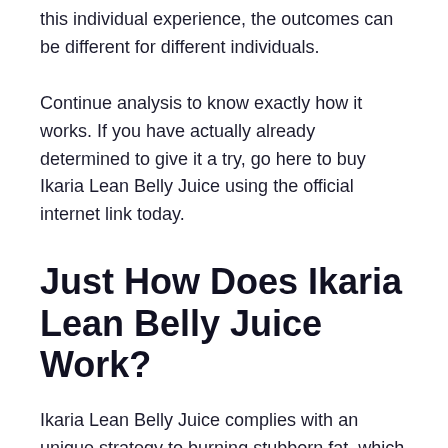this individual experience, the outcomes can be different for different individuals.
Continue analysis to know exactly how it works. If you have actually already determined to give it a try, go here to buy Ikaria Lean Belly Juice using the official internet link today.
Just How Does Ikaria Lean Belly Juice Work?
Ikaria Lean Belly Juice complies with an unique strategy to burning stubborn fat, which nothing else nutritional formula offers. It is neither a metabolic booster, stimulant, neither